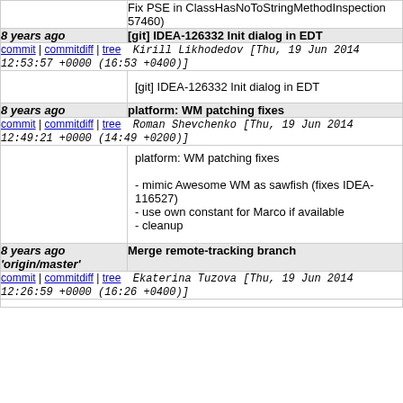Fix PSE in ClassHasNoToStringMethodInspection 57460)
8 years ago   [git] IDEA-126332 Init dialog in EDT
commit | commitdiff | tree   Kirill Likhodedov [Thu, 19 Jun 2014 12:53:57 +0000 (16:53 +0400)]
[git] IDEA-126332 Init dialog in EDT
8 years ago   platform: WM patching fixes
commit | commitdiff | tree   Roman Shevchenko [Thu, 19 Jun 2014 12:49:21 +0000 (14:49 +0200)]
platform: WM patching fixes

- mimic Awesome WM as sawfish (fixes IDEA-116527)
- use own constant for Marco if available
- cleanup
8 years ago   Merge remote-tracking branch 'origin/master'
commit | commitdiff | tree   Ekaterina Tuzova [Thu, 19 Jun 2014 12:26:59 +0000 (16:26 +0400)]